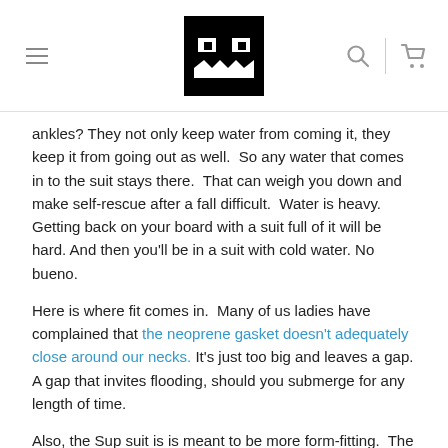[Navigation header with menu icon, logo, search icon, and cart icon]
ankles? They not only keep water from coming it, they keep it from going out as well.  So any water that comes in to the suit stays there.  That can weigh you down and make self-rescue after a fall difficult.  Water is heavy. Getting back on your board with a suit full of it will be hard. And then you'll be in a suit with cold water. No bueno.
Here is where fit comes in.  Many of us ladies have complained that the neoprene gasket doesn't adequately close around our necks. It's just too big and leaves a gap. A gap that invites flooding, should you submerge for any length of time.
Also, the Sup suit is is meant to be more form-fitting.  The fabric is stretchy, which is part of what makes it comfortable, as well as lightweight.
Now, if the risk is low that you will take a fall, then the suit is awesome. Lightweight and comfy. Easy to deploy. You will